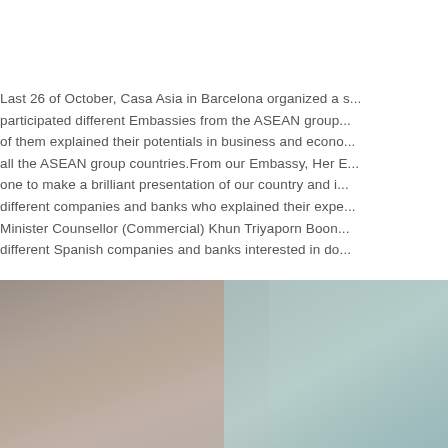Last 26 of October, Casa Asia in Barcelona organized a s... participated different Embassies from the ASEAN group... of them explained their potentials in business and econo... all the ASEAN group countries.From our Embassy, Her E... one to make a brilliant presentation of our country and i... different companies and banks who explained their expe... Minister Counsellor (Commercial) Khun Triyaporn Boon... different Spanish companies and banks interested in do...
[Figure (photo): Photograph partially visible, showing a blurred/out-of-focus background scene with muted warm tones on the left and cool blue-green tones on the right.]